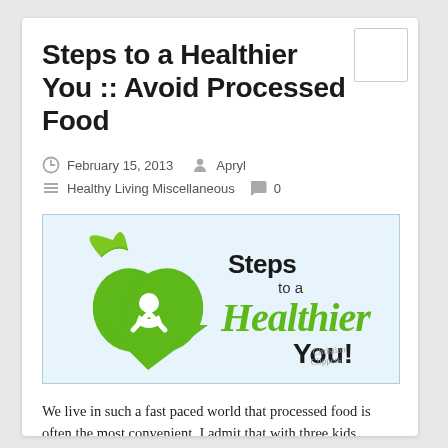Steps to a Healthier You :: Avoid Processed Food
February 15, 2013   Apryl
Healthy Living Miscellaneous   0
[Figure (illustration): Steps to a Healthier You logo with green apple/leaf heart figure and script text on light blue background, Christian Clippers watermark]
We live in such a fast paced world that processed food is often the most convenient.  I admit that with three kids involved in something every evening of the week, I just want to grab something quick for dinner. After learning the effects of processed food on my body, I've